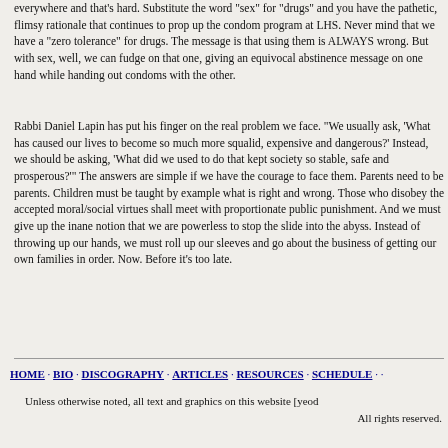everywhere and that's hard. Substitute the word "sex" for "drugs" and you have the pathetic, flimsy rationale that continues to prop up the condom program at LHS. Never mind that we have a "zero tolerance" for drugs. The message is that using them is ALWAYS wrong. But with sex, well, we can fudge on that one, giving an equivocal abstinence message on one hand while handing out condoms with the other.
Rabbi Daniel Lapin has put his finger on the real problem we face. "We usually ask, 'What has caused our lives to become so much more squalid, expensive and dangerous?' Instead, we should be asking, 'What did we used to do that kept society so stable, safe and prosperous?'" The answers are simple if we have the courage to face them. Parents need to be parents. Children must be taught by example what is right and wrong. Those who disobey the accepted moral/social virtues shall meet with proportionate public punishment. And we must give up the inane notion that we are powerless to stop the slide into the abyss. Instead of throwing up our hands, we must roll up our sleeves and go about the business of getting our own families in order. Now. Before it's too late.
HOME · BIO · DISCOGRAPHY · ARTICLES · RESOURCES · SCHEDULE · ...
Unless otherwise noted, all text and graphics on this website [yeod... All rights reserved.